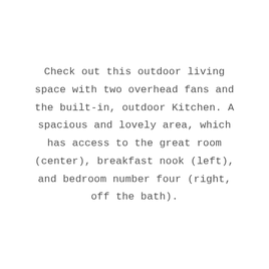Check out this outdoor living space with two overhead fans and the built-in, outdoor Kitchen. A spacious and lovely area, which has access to the great room (center), breakfast nook (left), and bedroom number four (right, off the bath).